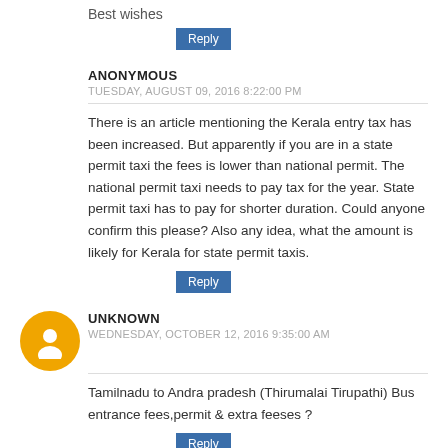Best wishes
Reply
ANONYMOUS
TUESDAY, AUGUST 09, 2016 8:22:00 PM
There is an article mentioning the Kerala entry tax has been increased. But apparently if you are in a state permit taxi the fees is lower than national permit. The national permit taxi needs to pay tax for the year. State permit taxi has to pay for shorter duration. Could anyone confirm this please? Also any idea, what the amount is likely for Kerala for state permit taxis.
Reply
[Figure (illustration): Orange circular avatar icon with white blogger 'B' logo silhouette]
UNKNOWN
WEDNESDAY, OCTOBER 12, 2016 9:35:00 AM
Tamilnadu to Andra pradesh (Thirumalai Tirupathi) Bus entrance fees,permit & extra feeses ?
Reply